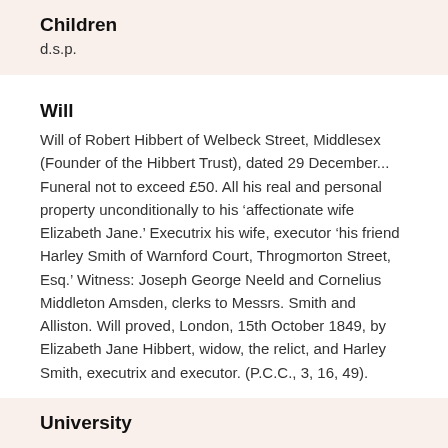Children
d.s.p.
Will
Will of Robert Hibbert of Welbeck Street, Middlesex (Founder of the Hibbert Trust), dated 29 December... Funeral not to exceed £50. All his real and personal property unconditionally to his ‘affectionate wife Elizabeth Jane.’ Executrix his wife, executor ‘his friend Harley Smith of Warnford Court, Throgmorton Street, Esq.’ Witness: Joseph George Neeld and Cornelius Middleton Amsden, clerks to Messrs. Smith and Alliston. Will proved, London, 15th October 1849, by Elizabeth Jane Hibbert, widow, the relict, and Harley Smith, executrix and executor. (P.C.C., 3, 16, 49).
University